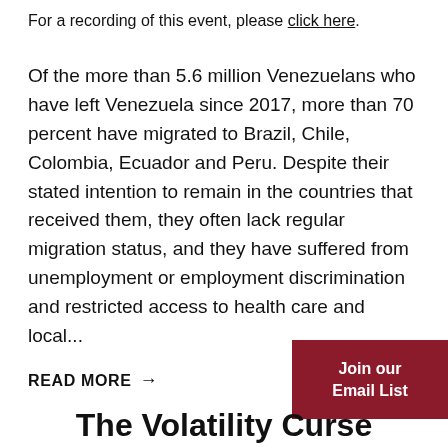For a recording of this event, please click here.
Of the more than 5.6 million Venezuelans who have left Venezuela since 2017, more than 70 percent have migrated to Brazil, Chile, Colombia, Ecuador and Peru. Despite their stated intention to remain in the countries that received them, they often lack regular migration status, and they have suffered from unemployment or employment discrimination and restricted access to health care and local...
READ MORE →
Join our Email List
The Volatility Curse